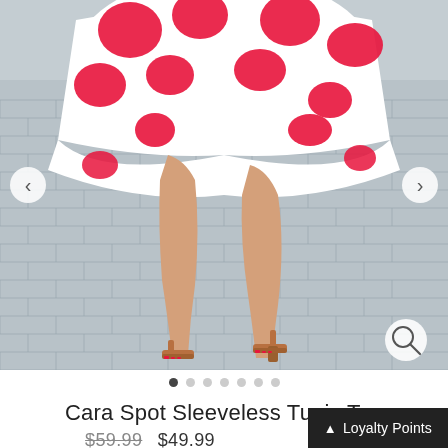[Figure (photo): A woman wearing a white and red spotted/polka dot sleeveless tunic top, showing from waist down. She is wearing tan block-heel sandals and standing on a grey brick/cobblestone pavement. Navigation arrows on left and right, magnify icon bottom right.]
Cara Spot Sleeveless Tunic Top
$59.99  $49.99
Loyalty Points